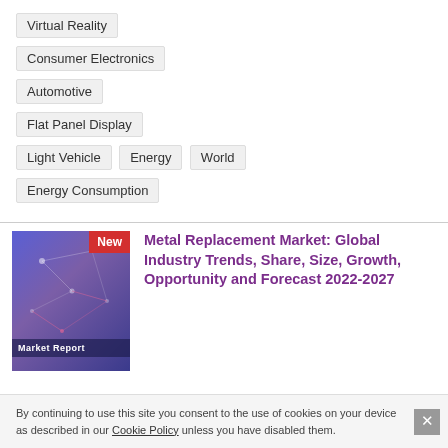Virtual Reality
Consumer Electronics
Automotive
Flat Panel Display
Light Vehicle
Energy
World
Energy Consumption
[Figure (illustration): Market Report book cover with blue/purple gradient background and network lines, with a red 'New' badge in top-right corner and 'Market Report' label at bottom.]
Metal Replacement Market: Global Industry Trends, Share, Size, Growth, Opportunity and Forecast 2022-2027
By continuing to use this site you consent to the use of cookies on your device as described in our Cookie Policy unless you have disabled them.